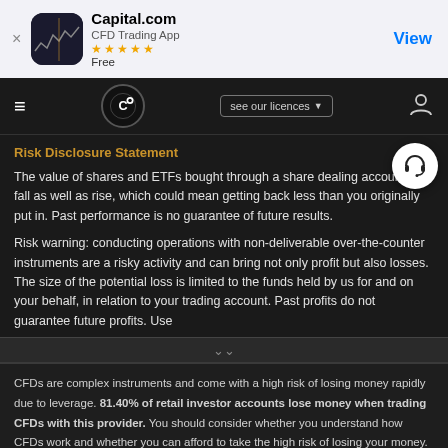[Figure (screenshot): Capital.com app banner with icon, name, CFD Trading App subtitle, 5 stars rating, Free label, and View button]
[Figure (screenshot): Capital.com navigation bar with hamburger menu, logo, see our licences dropdown, and user icon]
Risk Disclosure Statement
The value of shares and ETFs bought through a share dealing account can fall as well as rise, which could mean getting back less than you originally put in. Past performance is no guarantee of future results.
Risk warning: conducting operations with non-deliverable over-the-counter instruments are a risky activity and can bring not only profit but also losses. The size of the potential loss is limited to the funds held by us for and on your behalf, in relation to your trading account. Past profits do not guarantee future profits. Use
CFDs are complex instruments and come with a high risk of losing money rapidly due to leverage. 81.40% of retail investor accounts lose money when trading CFDs with this provider. You should consider whether you understand how CFDs work and whether you can afford to take the high risk of losing your money.
By using the Capital.com website you agree to the use of cookies.